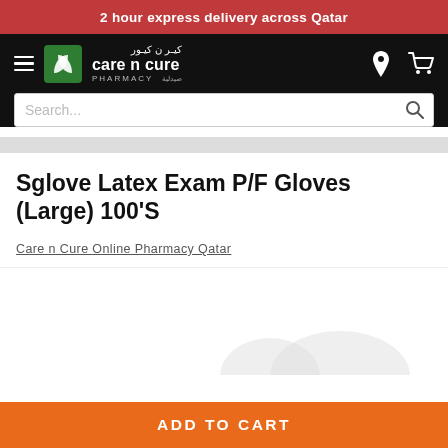2 hour express delivery across Qatar
[Figure (logo): Care n Cure Pharmacy logo with green leaf icon, English and Arabic text on black navigation bar with hamburger menu, location pin icon, and cart icon. Also includes search bar.]
Sglove Latex Exam P/F Gloves (Large) 100'S
Care n Cure Online Pharmacy Qatar
[Figure (photo): Product image area showing white latex gloves on white background, partially visible]
ADD TO CART